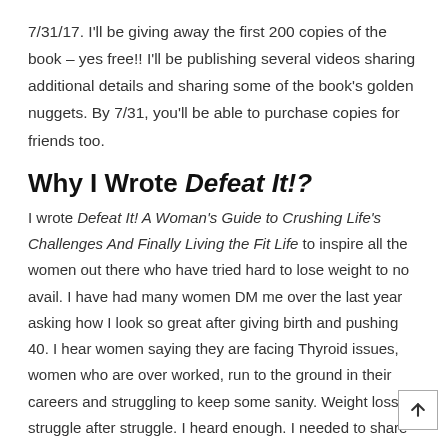7/31/17. I'll be giving away the first 200 copies of the book – yes free!! I'll be publishing several videos sharing additional details and sharing some of the book's golden nuggets. By 7/31, you'll be able to purchase copies for friends too.
Why I Wrote Defeat It!?
I wrote Defeat It! A Woman's Guide to Crushing Life's Challenges And Finally Living the Fit Life to inspire all the women out there who have tried hard to lose weight to no avail. I have had many women DM me over the last year asking how I look so great after giving birth and pushing 40. I hear women saying they are facing Thyroid issues, women who are over worked, run to the ground in their careers and struggling to keep some sanity. Weight loss struggle after struggle. I heard enough. I needed to share light and truth to the science of weight loss and the small steps you can take